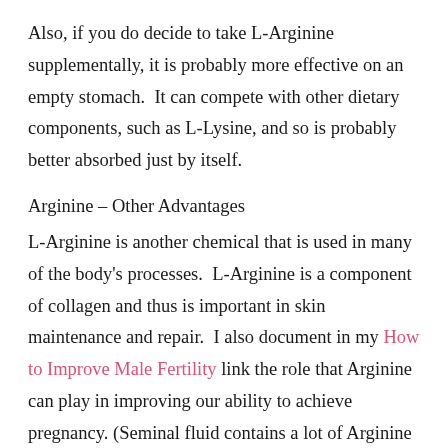Also, if you do decide to take L-Arginine supplementally, it is probably more effective on an empty stomach.  It can compete with other dietary components, such as L-Lysine, and so is probably better absorbed just by itself.
Arginine – Other Advantages
L-Arginine is another chemical that is used in many of the body's processes.  L-Arginine is a component of collagen and thus is important in skin maintenance and repair.  I also document in my How to Improve Male Fertility link the role that Arginine can play in improving our ability to achieve pregnancy. (Seminal fluid contains a lot of Arginine for starters and, of course, it can help with erections and some say libido as well.)  Also, a recent study showed some cardiovascular